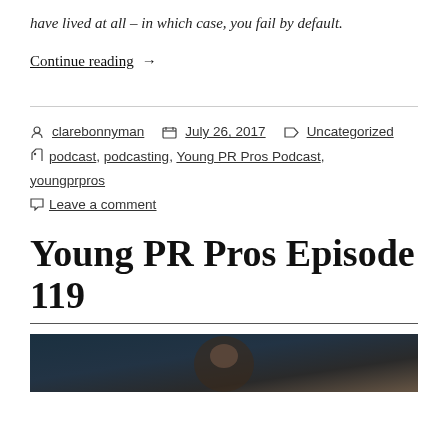have lived at all – in which case, you fail by default.
Continue reading →
clarebonnyman   July 26, 2017   Uncategorized   podcast, podcasting, Young PR Pros Podcast, youngprpros   Leave a comment
Young PR Pros Episode 119
[Figure (photo): Partial view of a photograph, appears dark with warm tones, possibly a person.]